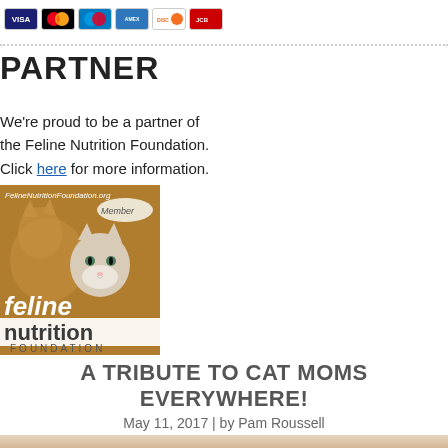[Figure (other): Payment method icons: VISA, Mastercard, Maestro, American Express, Discover, and another card]
PARTNER
We're proud to be a partner of the Feline Nutrition Foundation. Click here for more information.
[Figure (logo): Feline Nutrition Foundation member badge with cats image and text 'feline nutrition FOUNDATION' on brown background, URL FelineNutritionFoundation.org and 'Member' label]
A TRIBUTE TO CAT MOMS EVERYWHERE!
May 11, 2017 | by Pam Roussell
[Figure (photo): Bottom edge of a photo visible at the bottom of the page]